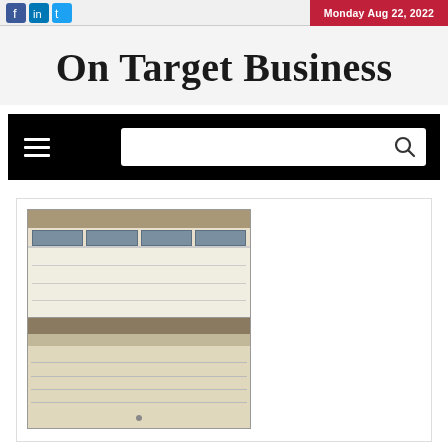Monday Aug 22, 2022
On Target Business
[Figure (screenshot): Black navigation bar with hamburger menu icon on left and search box with magnifying glass on right]
[Figure (photo): Two photos of garage doors stacked vertically: top image shows a white raised-panel garage door with windows; bottom image shows a cream/beige brick-style garage door partially open]